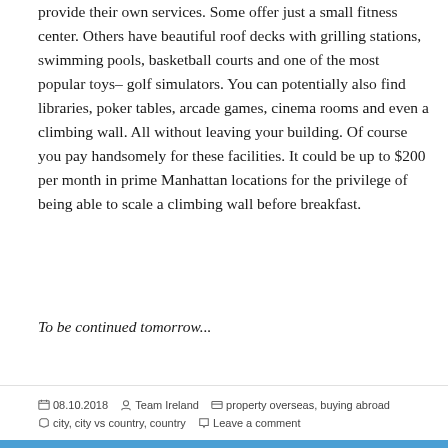provide their own services. Some offer just a small fitness center. Others have beautiful roof decks with grilling stations, swimming pools, basketball courts and one of the most popular toys– golf simulators. You can potentially also find libraries, poker tables, arcade games, cinema rooms and even a climbing wall. All without leaving your building. Of course you pay handsomely for these facilities. It could be up to $200 per month in prime Manhattan locations for the privilege of being able to scale a climbing wall before breakfast.
To be continued tomorrow...
08.10.2018  Team Ireland  property overseas, buying abroad  city, city vs country, country  Leave a comment